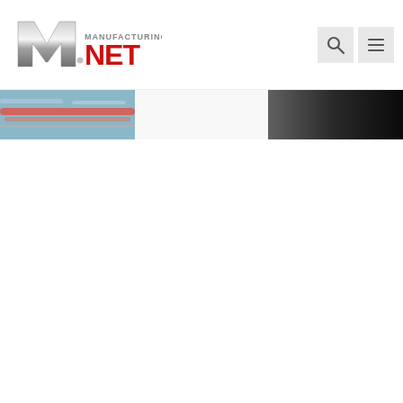Manufacturing.net — website header with logo and navigation icons
[Figure (screenshot): Partial banner images: left strip shows colorful industrial pipes/equipment photo, center strip is blank/white, right strip shows dark gradient background]
[Figure (logo): Manufacturing.net logo — stylized M with 'MANUFACTURING' in small gray text and 'NET' in bold red text]